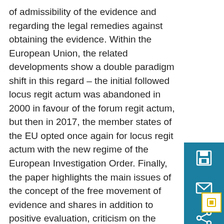of admissibility of the evidence and regarding the legal remedies against obtaining the evidence. Within the European Union, the related developments show a double paradigm shift in this regard – the initial followed locus regit actum was abandoned in 2000 in favour of the forum regit actum, but then in 2017, the member states of the EU opted once again for locus regit actum with the new regime of the European Investigation Order. Finally, the paper highlights the main issues of the concept of the free movement of evidence and shares in addition to positive evaluation, criticism on the subject as well.
Bűnügyi együttműködés a közel-keleti országokkal